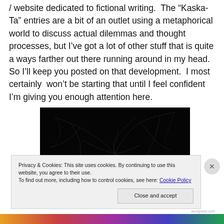/ website dedicated to fictional writing.  The “Kaska-Ta” entries are a bit of an outlet using a metaphorical world to discuss actual dilemmas and thought processes, but I’ve got a lot of other stuff that is quite a ways farther out there running around in my head.  So I’ll keep you posted on that development.  I most certainly  won’t be starting that until I feel confident I’m giving you enough attention here.
[Figure (photo): Dark image showing neural/branch-like patterns on a black background, with a small light-colored shape visible at the bottom center.]
Privacy & Cookies: This site uses cookies. By continuing to use this website, you agree to their use.
To find out more, including how to control cookies, see here: Cookie Policy
Close and accept